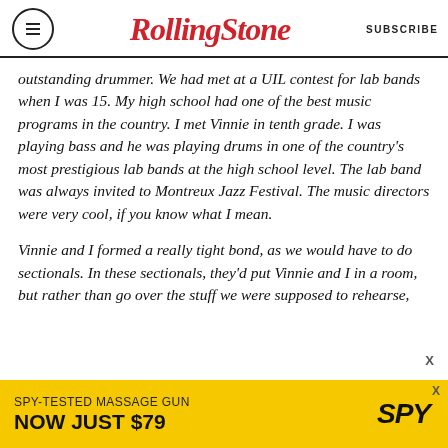RollingStone | SUBSCRIBE
outstanding drummer. We had met at a UIL contest for lab bands when I was 15. My high school had one of the best music programs in the country. I met Vinnie in tenth grade. I was playing bass and he was playing drums in one of the country's most prestigious lab bands at the high school level. The lab band was always invited to Montreux Jazz Festival. The music directors were very cool, if you know what I mean.

Vinnie and I formed a really tight bond, as we would have to do sectionals. In these sectionals, they'd put Vinnie and I in a room, but rather than go over the stuff we were supposed to rehearse,
[Figure (infographic): Advertisement banner: SPY-TESTED MASSAGE GUN NOW JUST $79 with SPY logo on yellow background]